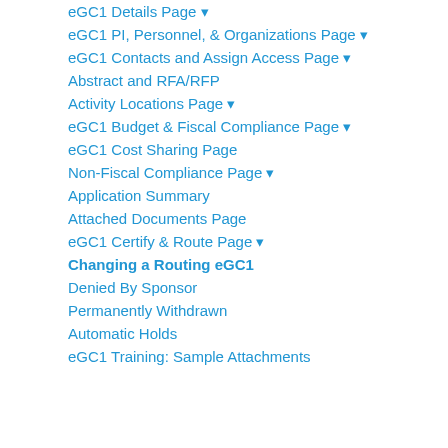eGC1 Details Page ▾
eGC1 PI, Personnel, & Organizations Page ▾
eGC1 Contacts and Assign Access Page ▾
Abstract and RFA/RFP
Activity Locations Page ▾
eGC1 Budget & Fiscal Compliance Page ▾
eGC1 Cost Sharing Page
Non-Fiscal Compliance Page ▾
Application Summary
Attached Documents Page
eGC1 Certify & Route Page ▾
Changing a Routing eGC1
Denied By Sponsor
Permanently Withdrawn
Automatic Holds
eGC1 Training: Sample Attachments